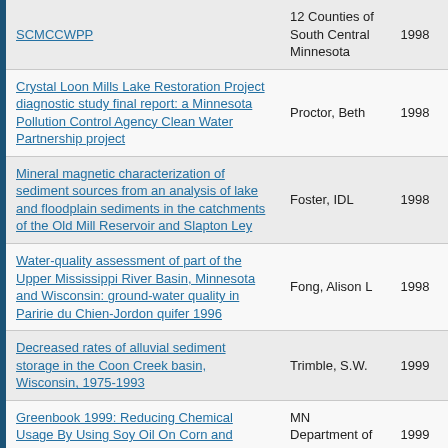| Title | Author | Year |
| --- | --- | --- |
| SCMCCWPP | 12 Counties of South Central Minnesota | 1998 |
| Crystal Loon Mills Lake Restoration Project diagnostic study final report: a Minnesota Pollution Control Agency Clean Water Partnership project | Proctor, Beth | 1998 |
| Mineral magnetic characterization of sediment sources from an analysis of lake and floodplain sediments in the catchments of the Old Mill Reservoir and Slapton Ley | Foster, IDL | 1998 |
| Water-quality assessment of part of the Upper Mississippi River Basin, Minnesota and Wisconsin: ground-water quality in Paririe du Chien-Jordon quifer 1996 | Fong, Alison L | 1998 |
| Decreased rates of alluvial sediment storage in the Coon Creek basin, Wisconsin, 1975-1993 | Trimble, S.W. | 1999 |
| Greenbook 1999: Reducing Chemical Usage By Using Soy Oil On Corn and Soybean | MN Department of Agriuculture | 1999 |
| Evaluation of Minnesota Agricultural Land Preservation Programs | MN Department of Agriuculture | 1999 |